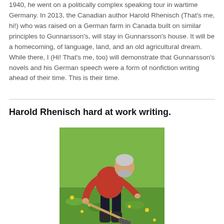1940, he went on a politically complex speaking tour in wartime Germany. In 2013, the Canadian author Harold Rhenisch (That's me, hi!) who was raised on a German farm in Canada built on similar principles to Gunnarsson's, will stay in Gunnarsson's house. It will be a homecoming, of language, land, and an old agricultural dream. While there, I (Hi! That's me, too) will demonstrate that Gunnarsson's novels and his German speech were a form of nonfiction writing ahead of their time. This is their time.
Harold Rhenisch hard at work writing.
[Figure (photo): A man wearing a red t-shirt and dark pants with rubber boots, bending over to dig or work with a long-handled tool in a grassy field with yellow dandelions.]